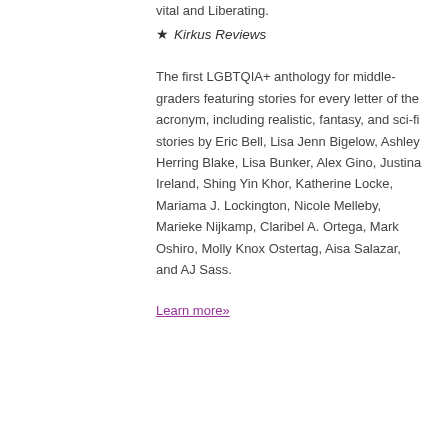vital and Liberating.
★ Kirkus Reviews
The first LGBTQIA+ anthology for middle-graders featuring stories for every letter of the acronym, including realistic, fantasy, and sci-fi stories by Eric Bell, Lisa Jenn Bigelow, Ashley Herring Blake, Lisa Bunker, Alex Gino, Justina Ireland, Shing Yin Khor, Katherine Locke, Mariama J. Lockington, Nicole Melleby, Marieke Nijkamp, Claribel A. Ortega, Mark Oshiro, Molly Knox Ostertag, Aisa Salazar, and AJ Sass.
Learn more»